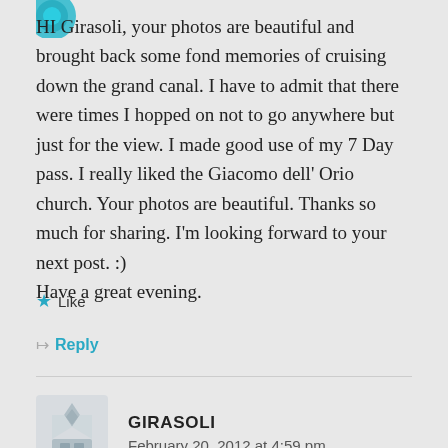[Figure (illustration): Teal/cyan decorative avatar icon at top left corner (partially cropped)]
HI Girasoli, your photos are beautiful and brought back some fond memories of cruising down the grand canal. I have to admit that there were times I hopped on not to go anywhere but just for the view. I made good use of my 7 Day pass. I really liked the Giacomo dell' Orio church. Your photos are beautiful. Thanks so much for sharing. I'm looking forward to your next post. :)
Have a great evening.
★ Like
↦ Reply
[Figure (illustration): Gray/blue decorative geometric avatar icon for GIRASOLI commenter]
GIRASOLI
February 20, 2012 at 4:59 pm